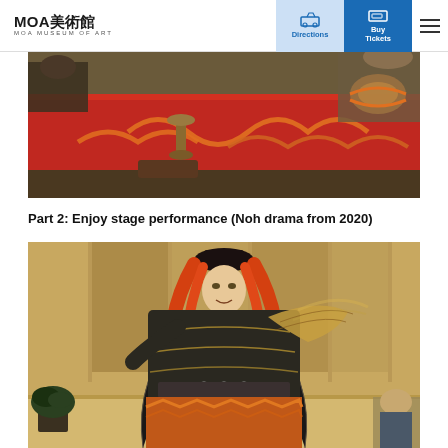MOA美術館 MOA MUSEUM OF ART
[Figure (photo): Traditional Japanese cultural performance setup with orange rope decorations on a red mat, participants in traditional clothing, and musical instruments including a drum]
Part 2: Enjoy stage performance (Noh drama from 2020)
[Figure (photo): Noh drama performer on stage wearing colorful traditional costume with orange/red wig, ornate black and gold robe, and holding a fan, performing in a traditional Japanese theater setting]